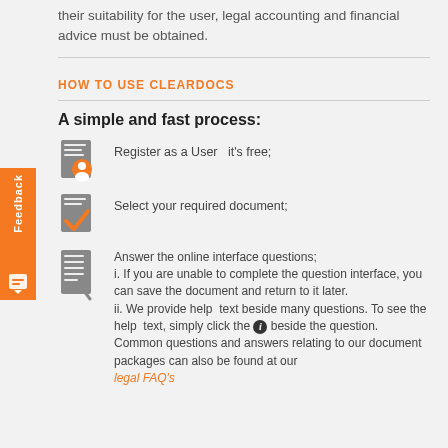their suitability for the user, legal accounting and financial advice must be obtained.
HOW TO USE CLEARDOCS
A simple and fast process:
Register as a User   it's free;
Select your required document;
Answer the online interface questions; i. If you are unable to complete the question interface, you can save the document and return to it later. ii. We provide help text beside many questions. To see the help text, simply click the [i] beside the question. Common questions and answers relating to our document packages can also be found at our legal FAQ's.